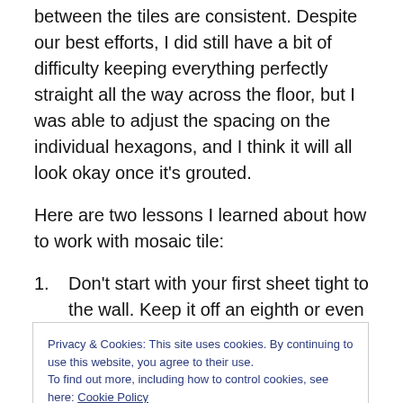between the tiles are consistent. Despite our best efforts, I did still have a bit of difficulty keeping everything perfectly straight all the way across the floor, but I was able to adjust the spacing on the individual hexagons, and I think it will all look okay once it's grouted.
Here are two lessons I learned about how to work with mosaic tile:
Don't start with your first sheet tight to the wall. Keep it off an eighth or even a quarter of an inch. This will give
Privacy & Cookies: This site uses cookies. By continuing to use this website, you agree to their use.
To find out more, including how to control cookies, see here: Cookie Policy
tiles (or pieces of tiles) into the gaps as necessary.